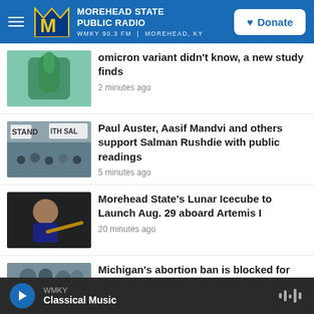[Figure (screenshot): Morehead State Public Radio website header with logo, hamburger menu, and Donate button]
omicron variant didn't know, a new study finds
2 minutes ago
Paul Auster, Aasif Mandvi and others support Salman Rushdie with public readings
5 minutes ago
Morehead State's Lunar Icecube to Launch Aug. 29 aboard Artemis I
20 minutes ago
Michigan's abortion ban is blocked for
WMKY
Classical Music